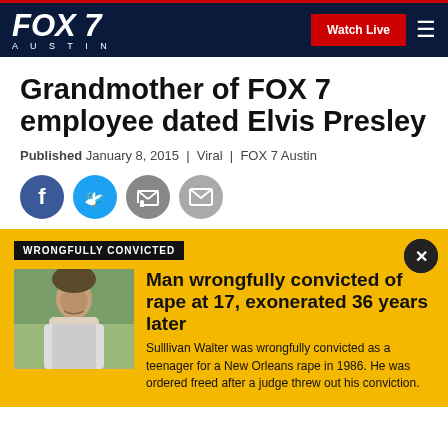FOX 7 AUSTIN — Watch Live
Grandmother of FOX 7 employee dated Elvis Presley
Published January 8, 2015 | Viral | FOX 7 Austin
[Figure (other): Social share icons: Facebook, Twitter, Print, Email]
WRONGFULLY CONVICTED
[Figure (photo): Photo of Sullivan Walter, a man in a white t-shirt standing outdoors near a tree]
Man wrongfully convicted of rape at 17, exonerated 36 years later
Sulllivan Walter was wrongfully convicted as a teenager for a New Orleans rape in 1986. He was ordered freed after a judge threw out his conviction.